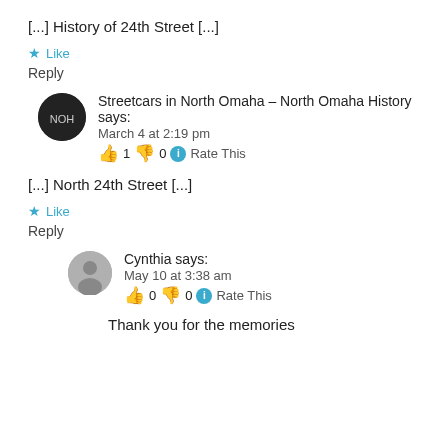[...] History of 24th Street [...]
★ Like
Reply
Streetcars in North Omaha – North Omaha History says:
March 4 at 2:19 pm
👍 1 👎 0 ℹ Rate This
[...] North 24th Street [...]
★ Like
Reply
Cynthia says:
May 10 at 3:38 am
👍 0 👎 0 ℹ Rate This
Thank you for the memories